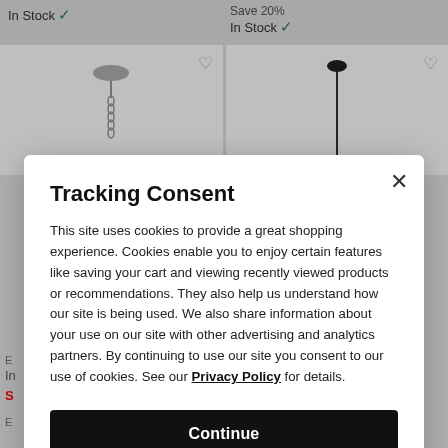In Stock ✓
Save 20%
In Stock ✓
[Figure (screenshot): Two product cards showing pendant light fixtures on white background with heart/wishlist icons in top-right corners]
Tracking Consent
This site uses cookies to provide a great shopping experience. Cookies enable you to enjoy certain features like saving your cart and viewing recently viewed products or recommendations. They also help us understand how our site is being used. We also share information about your use on our site with other advertising and analytics partners. By continuing to use our site you consent to our use of cookies. See our Privacy Policy for details.
Continue